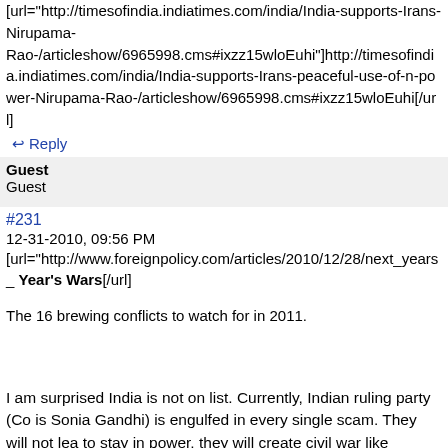[url="http://timesofindia.indiatimes.com/india/India-supports-Irans-peaceful-use-of-n-power-Nirupama-Rao-/articleshow/6965998.cms#ixzz15wloEuhi"]http://timesofindia.indiatimes.com/india/India-supports-Irans-peaceful-use-of-n-power-Nirupama-Rao-/articleshow/6965998.cms#ixzz15wloEuhi[/url]
↵ Reply
Guest
Guest
#231
12-31-2010, 09:56 PM
[url="http://www.foreignpolicy.com/articles/2010/12/28/next_years_wars Next Year's Wars[/url]
The 16 brewing conflicts to watch for in 2011.
I am surprised India is not on list. Currently, Indian ruling party (Co is Sonia Gandhi) is engulfed in every single scam. They will not lea to stay in power, they will create civil war like environment. Curren creating environment against majority religion of India and religious who are directly involved in scams are working full time to protect